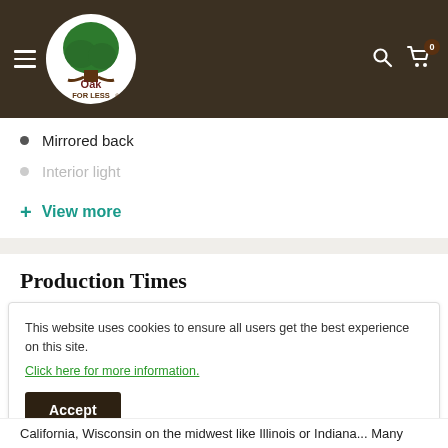[Figure (logo): Oak For Less logo: green tree inside white circle with brown text 'Oak FOR LESS' below the tree, on dark brown header background with hamburger menu, search icon, and cart icon with badge showing 0]
Mirrored back
Interior light
+ View more
Production Times
This website uses cookies to ensure all users get the best experience on this site. Click here for more information.
Accept
California, Wisconsin on the midwest like Illinois or Indiana... Many